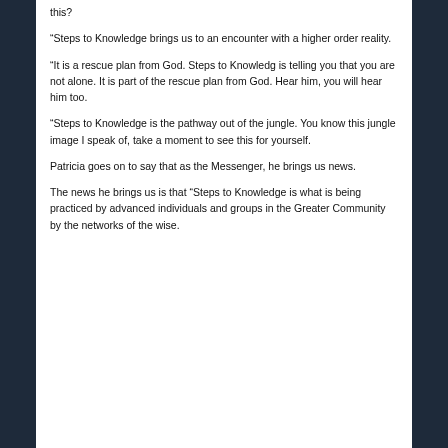this?
“Steps to Knowledge brings us to an encounter with a higher order reality.
“It is a rescue plan from God. Steps to Knowledg is telling you that you are not alone. It is part of the rescue plan from God. Hear him, you will hear him too.
“Steps to Knowledge is the pathway out of the jungle. You know this jungle image I speak of, take a moment to see this for yourself.
Patricia goes on to say that as the Messenger, he brings us news.
The news he brings us is that “Steps to Knowledge is what is being practiced by advanced individuals and groups in the Greater Community by the networks of the wise.